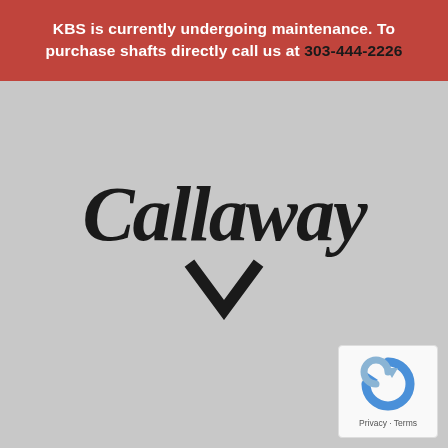KBS is currently undergoing maintenance. To purchase shafts directly call us at 303-444-2226
[Figure (logo): Callaway Golf brand logo in black gothic/blackletter script with a chevron/check mark symbol below the text, on a gray background]
[Figure (other): Google reCAPTCHA badge with blue/gray circular arrow icon and 'Privacy - Terms' text]